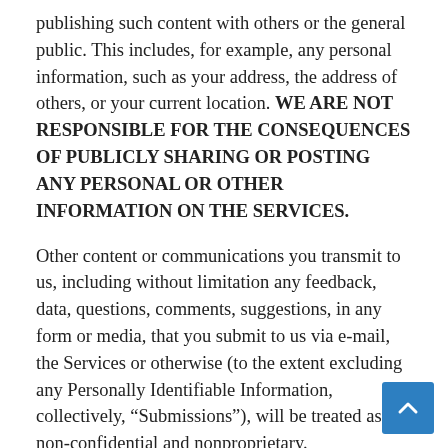publishing such content with others or the general public. This includes, for example, any personal information, such as your address, the address of others, or your current location. WE ARE NOT RESPONSIBLE FOR THE CONSEQUENCES OF PUBLICLY SHARING OR POSTING ANY PERSONAL OR OTHER INFORMATION ON THE SERVICES.
Other content or communications you transmit to us, including without limitation any feedback, data, questions, comments, suggestions, in any form or media, that you submit to us via e-mail, the Services or otherwise (to the extent excluding any Personally Identifiable Information, collectively, “Submissions”), will be treated as non-confidential and nonproprietary.
By providing any Public Posting or Submission, you (i) grant to Company a royalty-free, non-exclusive, perpetual, irrevocable, sub-licensable right to use, reproduce, modify,